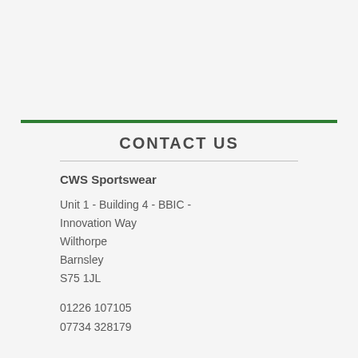CONTACT US
CWS Sportswear
Unit 1 - Building 4 - BBIC - Innovation Way
Wilthorpe
Barnsley
S75 1JL
01226 107105
07734 328179